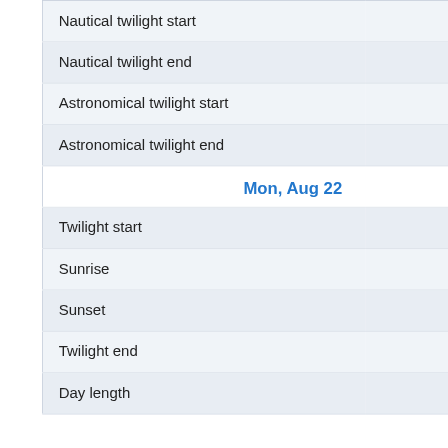| Event | Time |
| --- | --- |
| Nautical twilight start | 4:38 am |
| Nautical twilight end | 9:34 pm |
| Astronomical twilight start | 3:47 am |
| Astronomical twilight end | 10:25 pm |
| Mon, Aug 22 |  |
| Twilight start | 5:25:45 am |
| Sunrise | 5:59:45 am |
| Sunset | 8:12:45 pm |
| Twilight end | 8:46:45 pm |
| Day length | 14:13:00 |